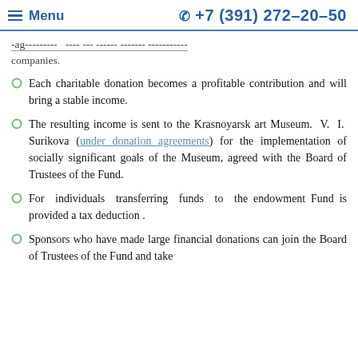Menu  +7 (391) 272-20-50
…agreement with the asset balance management companies.
Each charitable donation becomes a profitable contribution and will bring a stable income.
The resulting income is sent to the Krasnoyarsk art Museum. V. I. Surikova (under donation agreements) for the implementation of socially significant goals of the Museum, agreed with the Board of Trustees of the Fund.
For individuals transferring funds to the endowment Fund is provided a tax deduction .
Sponsors who have made large financial donations can join the Board of Trustees of the Fund and take